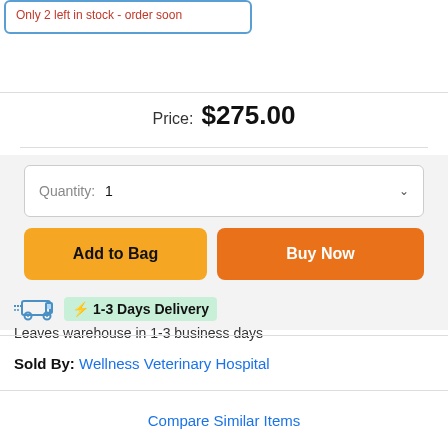Only 2 left in stock - order soon
Price: $275.00
Quantity: 1
Add to Bag
Buy Now
1-3 Days Delivery
Leaves warehouse in 1-3 business days
Sold By: Wellness Veterinary Hospital
Compare Similar Items